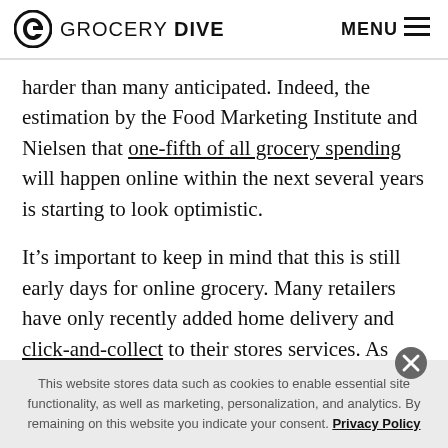GROCERY DIVE  MENU
harder than many anticipated. Indeed, the estimation by the Food Marketing Institute and Nielsen that one-fifth of all grocery spending will happen online within the next several years is starting to look optimistic.
It’s important to keep in mind that this is still early days for online grocery. Many retailers have only recently added home delivery and click-and-collect to their stores services. As time goes on, companies will learn how to
This website stores data such as cookies to enable essential site functionality, as well as marketing, personalization, and analytics. By remaining on this website you indicate your consent. Privacy Policy